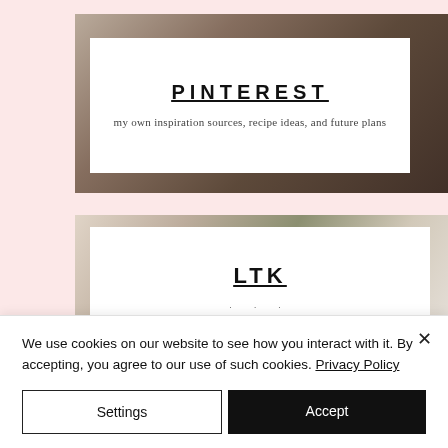[Figure (photo): Pinterest card with white overlay showing PINTEREST heading and subtitle text over a bedroom/interior photo background]
PINTEREST
my own inspiration sources, recipe ideas, and future plans
[Figure (photo): LTK card with white overlay showing LTK heading over an interior/hallway photo background]
LTK
We use cookies on our website to see how you interact with it. By accepting, you agree to our use of such cookies. Privacy Policy